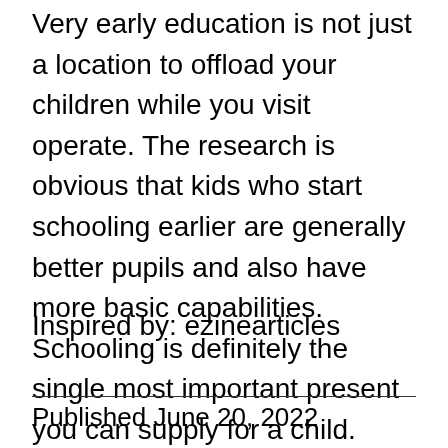Very early education is not just a location to offload your children while you visit operate. The research is obvious that kids who start schooling earlier are generally better pupils and also have more basic capabilities. Schooling is definitely the single most important present you can supply for a child.
Inspired by: ezinearticles
Published June 20, 2022